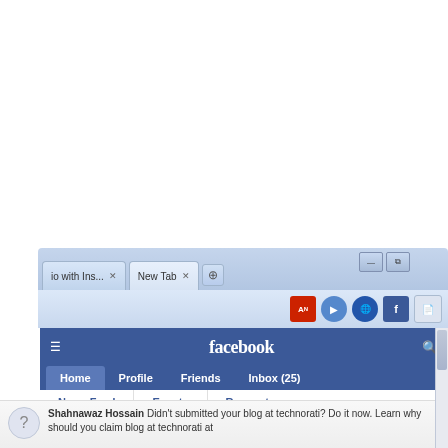[Figure (screenshot): Screenshot of Facebook website open in a web browser (Chrome). The browser shows two tabs: 'io with Ins...' and 'New Tab'. The Facebook interface is visible with a blue header showing the Facebook logo, navigation items (Home, Profile, Friends, Inbox (25)), sub-navigation (News Feed, Events, Requests), a status update input box ('What's on your mind?'), and a notification about 'Shahnawaz Hossain Didn't submitted your blog at technorati? Do it now. Learn why should you claim blog at technorati at'.]